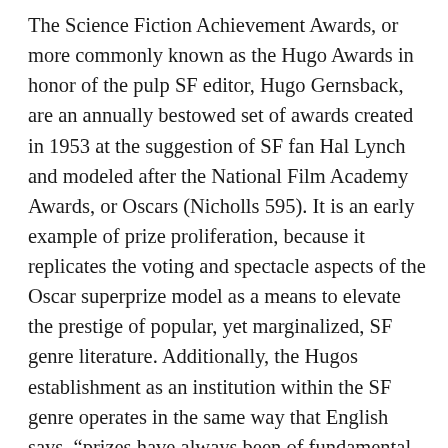The Science Fiction Achievement Awards, or more commonly known as the Hugo Awards in honor of the pulp SF editor, Hugo Gernsback, are an annually bestowed set of awards created in 1953 at the suggestion of SF fan Hal Lynch and modeled after the National Film Academy Awards, or Oscars (Nicholls 595). It is an early example of prize proliferation, because it replicates the voting and spectacle aspects of the Oscar superprize model as a means to elevate the prestige of popular, yet marginalized, SF genre literature. Additionally, the Hugos establishment as an institution within the SF genre operates in the same way that English says, “prizes have always been of fundamental importance to the institutional machinery of cultural legitimacy and authority” (37). The Hugos legitimate popularly regarded works of great SF through its authority as the first superprize in the genre.